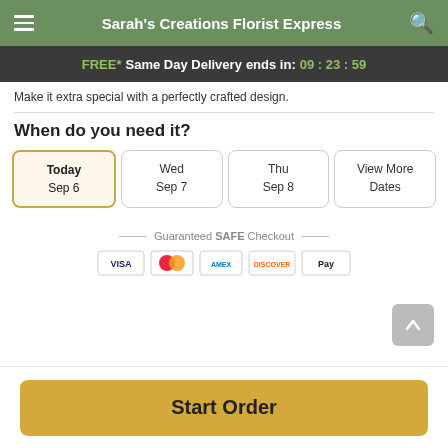Sarah's Creations Florist Express
FREE* Same Day Delivery ends in: 09:23:59
Make it extra special with a perfectly crafted design.
When do you need it?
Today Sep 6
Wed Sep 7
Thu Sep 8
View More Dates
Guaranteed SAFE Checkout
[Figure (other): Payment method icons: VISA, Mastercard, American Express, Discover, Apple Pay]
Start Order